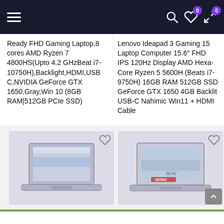Navigation bar with hamburger menu, search, wishlist (0), and cart (0) icons
Ready FHD Gaming Laptop,8 cores AMD Ryzen 7 4800HS(Upto 4.2 GHzBeat i7-10750H),Backlight,HDMI,USB C,NVIDIA GeForce GTX 1650,Gray,Win 10 (8GB RAM|512GB PCIe SSD)
Lenovo Ideapad 3 Gaming 15 Laptop Computer 15.6″ FHD IPS 120Hz Display AMD Hexa-Core Ryzen 5 5600H (Beats i7-9750H) 16GB RAM 512GB SSD GeForce GTX 1650 4GB Backlit USB-C Nahimic Win11 + HDMI Cable
[Figure (photo): Laptop product image (left) with heart/wishlist button]
[Figure (photo): Acer Nitro laptop product image (right) with heart/wishlist button]